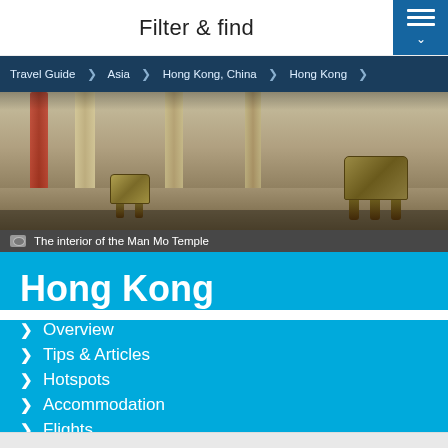Filter & find
Travel Guide > Asia > Hong Kong, China > Hong Kong >
[Figure (photo): Interior of the Man Mo Temple showing columns, stone floor, and a bronze ceremonial vessel on legs]
The interior of the Man Mo Temple
Hong Kong
Overview
Tips & Articles
Hotspots
Accommodation
Flights